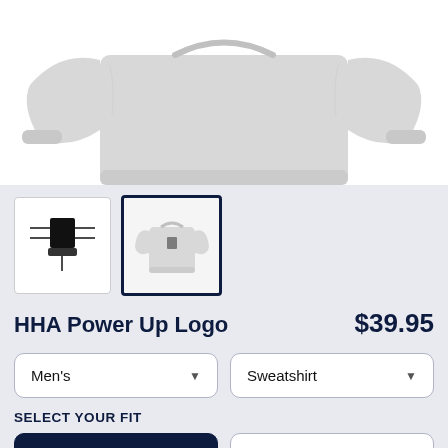[Figure (photo): Product photo of a light grey crewneck sweatshirt, cropped showing the top/sleeves, on a white background]
[Figure (photo): Small thumbnail of a product diagram/flat lay with annotations]
[Figure (photo): Small thumbnail of the grey crewneck sweatshirt, selected (outlined in dark navy border)]
HHA Power Up Logo
$39.95
Men's
Sweatshirt
SELECT YOUR FIT
$39.95
French Terry
$50.45
Sponge Fleece